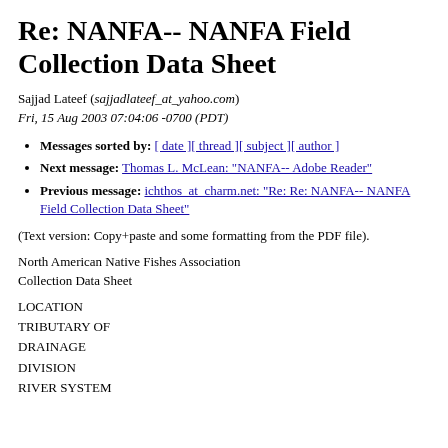Re: NANFA-- NANFA Field Collection Data Sheet
Sajjad Lateef (sajjadlateef_at_yahoo.com)
Fri, 15 Aug 2003 07:04:06 -0700 (PDT)
Messages sorted by: [ date ][ thread ][ subject ][ author ]
Next message: Thomas L. McLean: "NANFA-- Adobe Reader"
Previous message: ichthos_at_charm.net: "Re: Re: NANFA-- NANFA Field Collection Data Sheet"
(Text version: Copy+paste and some formatting from the PDF file).
North American Native Fishes Association
Collection Data Sheet
LOCATION
TRIBUTARY OF
DRAINAGE
DIVISION
RIVER SYSTEM